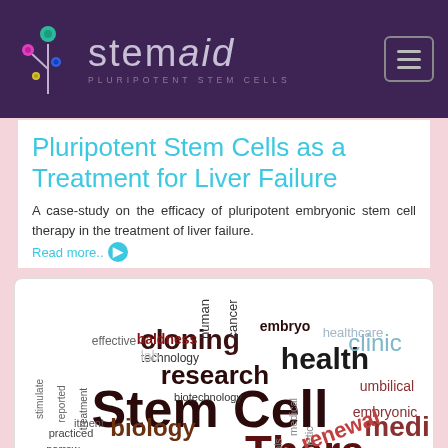stemaid — PLURIPOTENT STEM CELLS
Pluripotent Stem Cells as a Treatment for Liver Failure
A case-study on the efficacy of pluripotent embryonic stem cell therapy in the treatment of liver failure. Read more..
[Figure (infographic): Word cloud featuring stem cell-related terms including Stem Cell, Therapy, research, cloning, health, clinic, biology, embryo, embryonic, umbilical, biotechnology, healthcare, medical, genetic, scientific, trials, renewal, medi, cancer, human, baldness, effective, stimulate, reported, treatment, practiced, narrow, found, experiment and others in various sizes and dark red/maroon colors.]